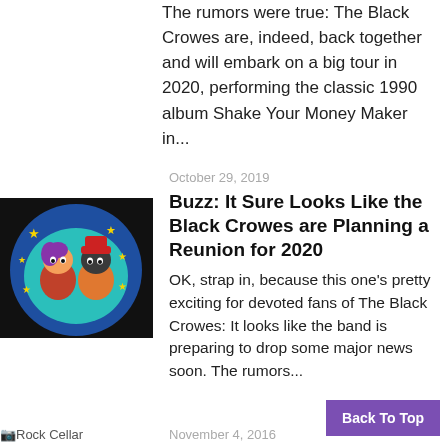The rumors were true: The Black Crowes are, indeed, back together and will embark on a big tour in 2020, performing the classic 1990 album Shake Your Money Maker in...
October 29, 2019
[Figure (illustration): Black Crowes cartoon characters on a dark blue circular background with yellow stars]
Buzz: It Sure Looks Like the Black Crowes are Planning a Reunion for 2020
OK, strap in, because this one’s pretty exciting for devoted fans of The Black Crowes: It looks like the band is preparing to drop some major news soon. The rumors...
November 4, 2016
Rock Cellar
Back To Top